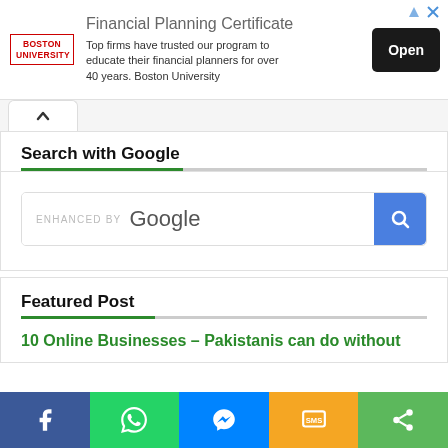[Figure (other): Advertisement banner for Boston University Financial Planning Certificate. Contains Boston University logo, ad title 'Financial Planning Certificate', body text 'Top firms have trusted our program to educate their financial planners for over 40 years. Boston University', and an 'Open' button.]
Search with Google
[Figure (screenshot): Google search box with 'ENHANCED BY Google' placeholder text and a blue search button with magnifying glass icon]
Featured Post
10 Online Businesses - Pakistanis can do without
[Figure (other): Social sharing bar with Facebook, WhatsApp, Messenger, SMS, and Share buttons]